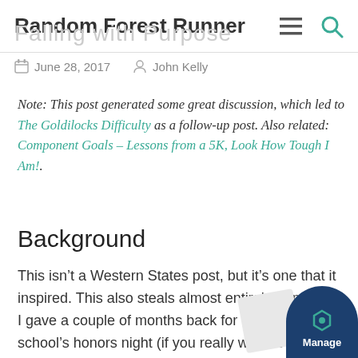Random Forest Runner
Falling with Purpose
June 28, 2017   John Kelly
Note: This post generated some great discussion, which led to The Goldilocks Difficulty as a follow-up post. Also related: Component Goals – Lessons from a 5K, Look How Tough I Am!.
Background
This isn't a Western States post, but it's one that it inspired. This also steals almost entirely from a talk I gave a couple of months back for my high school's honors night (if you really want to see the video, it's at the bottom). I hadn't planned on posting it, but with so much the discussion I've seen this week I felt